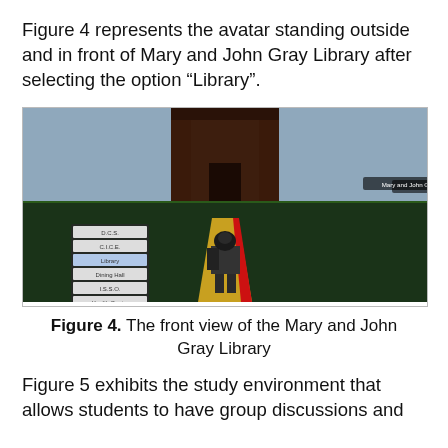Figure 4 represents the avatar standing outside and in front of Mary and John Gray Library after selecting the option “Library”.
[Figure (screenshot): A screenshot of a 3D virtual campus environment showing an avatar from behind, standing on a yellow path leading toward the Mary and John Gray Library building. The scene shows a dark green ground with a red stripe along the path. A menu panel on the left lists options: D.C.S., C.I.C.E., Library, Dining Hall, I.S.S.O., Health Center. A label reading 'Mary and John Gray Library' appears above the building entrance.]
Figure 4. The front view of the Mary and John Gray Library
Figure 5 exhibits the study environment that allows students to have group discussions and